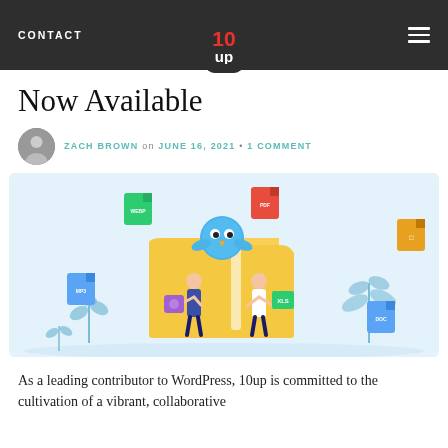CONTACT | 10up logo | menu
Now Available
ZACH BROWN on JUNE 16, 2021 • 1 COMMENT
[Figure (illustration): Colorful illustration showing two people exchanging files next to a large yellow folder, with a blue bird mascot on top and various file type icons floating around (WEBP, PDF, DOC, XLS, MP3, PSD)]
As a leading contributor to WordPress, 10up is committed to the cultivation of a vibrant, collaborative